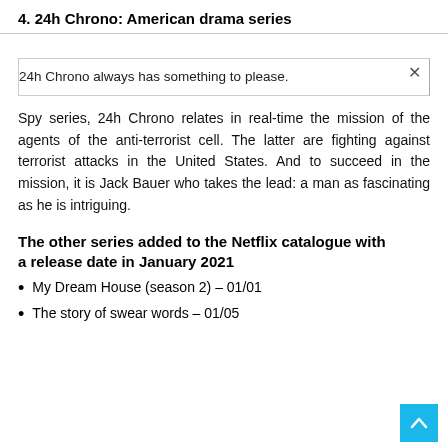4. 24h Chrono: American drama series
24h Chrono always has something to please.
Spy series, 24h Chrono relates in real-time the mission of the agents of the anti-terrorist cell. The latter are fighting against terrorist attacks in the United States. And to succeed in the mission, it is Jack Bauer who takes the lead: a man as fascinating as he is intriguing.
The other series added to the Netflix catalogue with a release date in January 2021
My Dream House (season 2) – 01/01
The story of swear words – 01/05